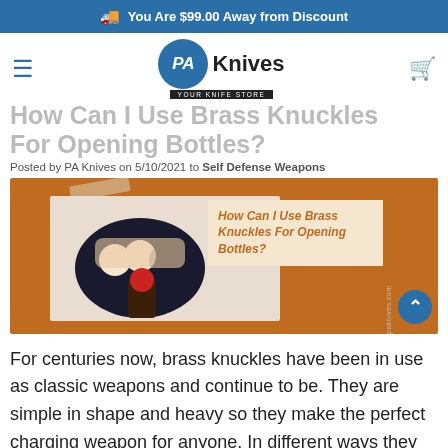You Are $99.00 Away from Discount
[Figure (logo): PA Knives logo with blue circle, 'PA' in italic white text, 'Knives' in bold black, tagline 'YOUR KNIFE STORE']
How Can I Use Brass Knuckles For Opening Bottles?
Posted by PA Knives on 5/10/2021 to Self Defense Weapons
[Figure (photo): Hero image with orange/brown background showing brass knuckles being used as a bottle opener, with text overlay 'How Can I Use Brass Knuckles For Opening Bottles?' on a tan background box and a blue scroll-to-top button]
For centuries now, brass knuckles have been in use as classic weapons and continue to be. They are simple in shape and heavy so they make the perfect charging weapon for anyone. In different ways they have been around for a while now and every